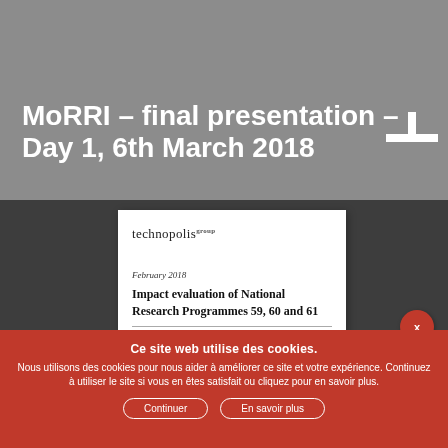MoRRI – final presentation – Day 1, 6th March 2018
[Figure (illustration): Document preview thumbnail showing a Technopolis group report cover. Header: 'February 2018'. Title: 'Impact evaluation of National Research Programmes 59, 60 and 61']
Ce site web utilise des cookies.
Nous utilisons des cookies pour nous aider à améliorer ce site et votre expérience. Continuez à utiliser le site si vous en êtes satisfait ou cliquez pour en savoir plus.
Continuer
En savoir plus